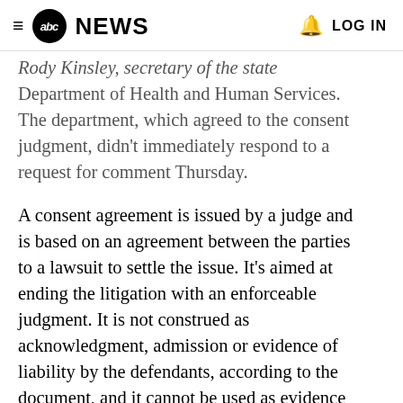≡ abcNEWS  🔔 LOG IN
Rody Kinsley, secretary of the state Department of Health and Human Services. The department, which agreed to the consent judgment, didn't immediately respond to a request for comment Thursday.
A consent agreement is issued by a judge and is based on an agreement between the parties to a lawsuit to settle the issue. It's aimed at ending the litigation with an enforceable judgment. It is not construed as acknowledgment, admission or evidence of liability by the defendants, according to the document, and it cannot be used as evidence of liability in any current or future